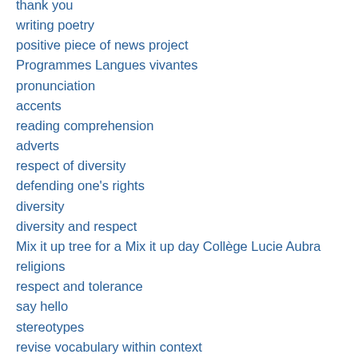thank you
writing poetry
positive piece of news project
Programmes Langues vivantes
pronunciation
accents
reading comprehension
adverts
respect of diversity
defending one's rights
diversity
diversity and respect
Mix it up tree for a Mix it up day Collège Lucie Aubra
religions
respect and tolerance
say hello
stereotypes
revise vocabulary within context